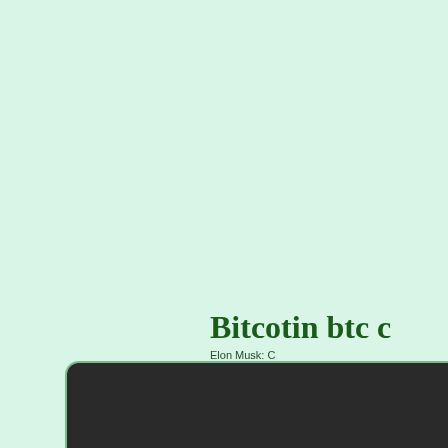Bitcotin btc c
Elon Musk: C
[Figure (screenshot): Dark rounded panel at bottom of page, partially visible, with green border, showing a dark interface element]